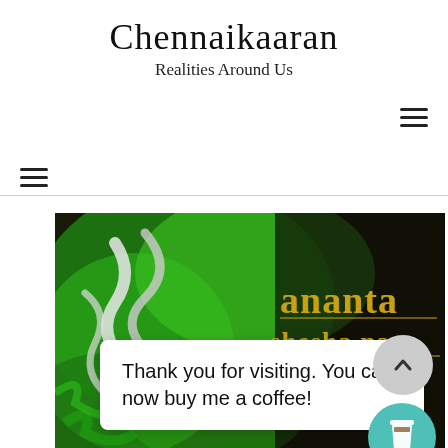Chennaikaaran
Realities Around Us
[Figure (screenshot): Navigation menu icon (hamburger) top right]
[Figure (screenshot): Navigation menu icon (hamburger) left side]
[Figure (illustration): Book cover image: 'ananta shesha naga - Rise Of Demon Prince' with green and black serpent artwork]
Thank you for visiting. You can now buy me a coffee!